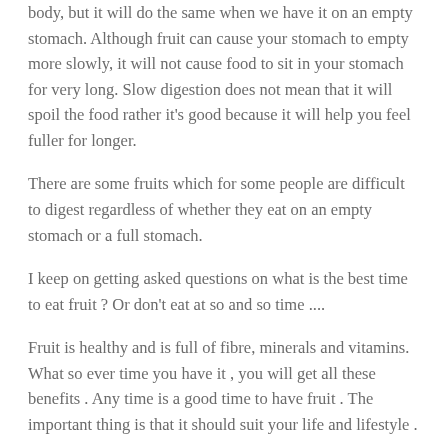body, but it will do the same when we have it on an empty stomach. Although fruit can cause your stomach to empty more slowly, it will not cause food to sit in your stomach for very long. Slow digestion does not mean that it will spoil the food rather it's good because it will help you feel fuller for longer.
There are some fruits which for some people are difficult to digest regardless of whether they eat on an empty stomach or a full stomach.
I keep on getting asked questions on what is the best time to eat fruit ? Or don't eat at so and so time ....
Fruit is healthy and is full of fibre, minerals and vitamins. What so ever time you have it , you will get all these benefits . Any time is a good time to have fruit . The important thing is that it should suit your life and lifestyle .